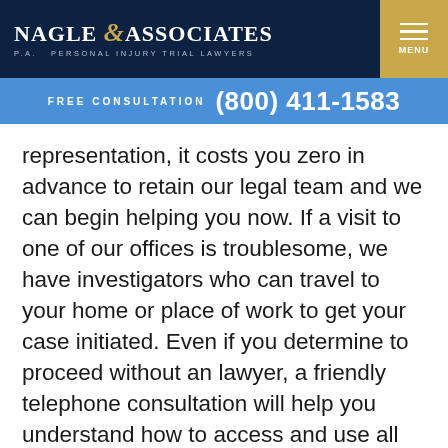[Figure (logo): Nagle & Associates P.A. Personal Injury Trial Lawyers logo with menu button]
FREE CONSULTATION (800) 411-1583
representation, it costs you zero in advance to retain our legal team and we can begin helping you now. If a visit to one of our offices is troublesome, we have investigators who can travel to your home or place of work to get your case initiated. Even if you determine to proceed without an lawyer, a friendly telephone consultation will help you understand how to access and use all available insurance protection, and how to attain the most settlement for all of your car accident claims.